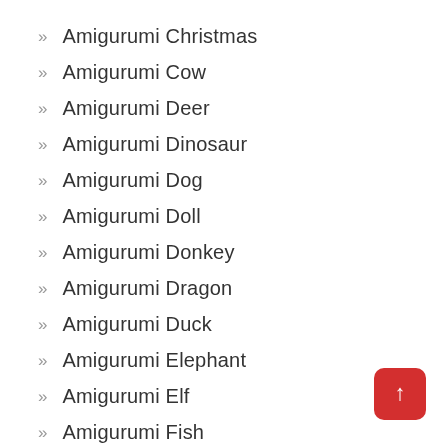» Amigurumi Christmas
» Amigurumi Cow
» Amigurumi Deer
» Amigurumi Dinosaur
» Amigurumi Dog
» Amigurumi Doll
» Amigurumi Donkey
» Amigurumi Dragon
» Amigurumi Duck
» Amigurumi Elephant
» Amigurumi Elf
» Amigurumi Fish